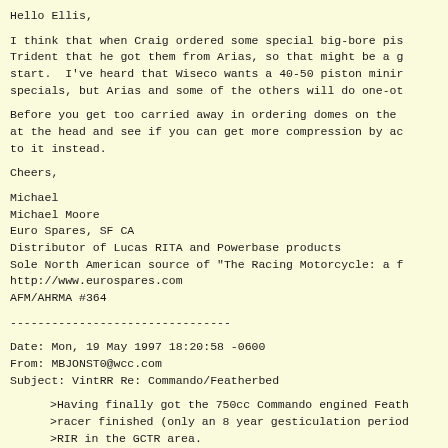Hello Ellis,
I think that when Craig ordered some special big-bore pis
Trident that he got them from Arias, so that might be a g
start.  I've heard that Wiseco wants a 40-50 piston minir
specials, but Arias and some of the others will do one-ot
Before you get too carried away in ordering domes on the
at the head and see if you can get more compression by ac
to it instead.
Cheers,
Michael
Michael Moore
Euro Spares, SF CA
Distributor of Lucas RITA and Powerbase products
Sole North American source of "The Racing Motorcycle: a f
http://www.eurospares.com
AFM/AHRMA #364
--------------------------------
Date: Mon, 19 May 1997 18:20:58 -0600
From: MBJONST0@wcc.com
Subject: VintRR Re: Commando/Featherbed
>Having finally got the 750cc Commando engined Feath
>racer finished (only an 8 year gesticulation period
>RIR in the GCTR area.